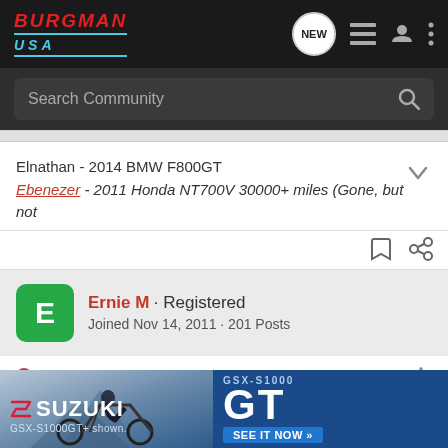BURGMAN USA
Search Community
Elnathan - 2014 BMW F800GT
Ebenezer - 2011 Honda NT700V 30000+ miles (Gone, but not
Ernie M · Registered
Joined Nov 14, 2011 · 201 Posts
Discussion Starter · #7 · May 7, 2013
I just tried it again and nothing. everything else works fine. year differences etc.
[Figure (advertisement): Suzuki GSX-S1000GT+ motorcycle advertisement banner. Shows motorcycle rider image with Suzuki logo on left, GT branding on right with 'SEE IT NOW >>' button. GSX-S1000GT+ shown.]